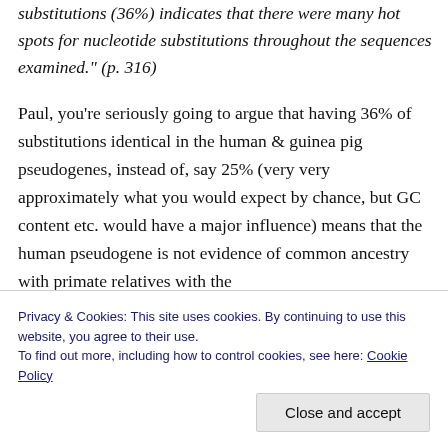substitutions (36%) indicates that there were many hot spots for nucleotide substitutions throughout the sequences examined." (p. 316)
Paul, you're seriously going to argue that having 36% of substitutions identical in the human & guinea pig pseudogenes, instead of, say 25% (very very approximately what you would expect by chance, but GC content etc. would have a major influence) means that the human pseudogene is not evidence of common ancestry with primate relatives with the
gene than to the guinea pig gene. That's a